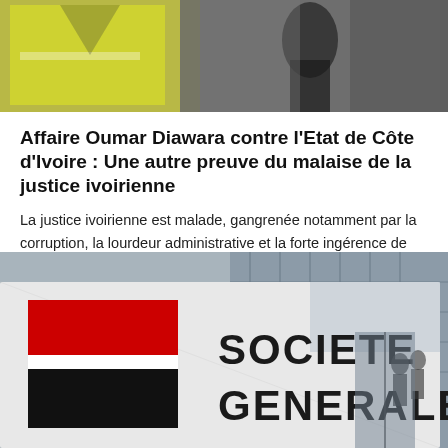[Figure (photo): Top portion of a news article photo showing a person in a yellow vest against a blurred background]
Affaire Oumar Diawara contre l’Etat de Côte d’Ivoire : Une autre preuve du malaise de la justice ivoirienne
La justice ivoirienne est malade, gangrenée notamment par la corruption, la lourdeur administrative et la forte ingérence de l’exécutif. Et les occasions pour…
[Figure (photo): Photograph of a Société Générale bank sign with red and black logo on a white structure, glass building entrance in the background with people walking]